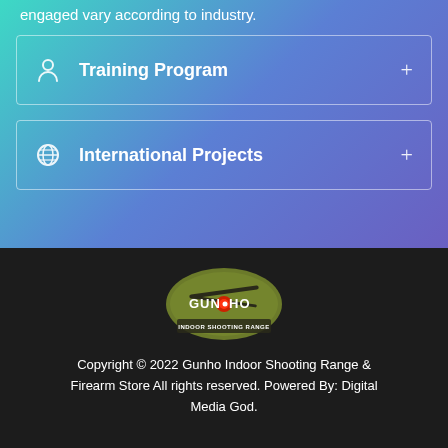engaged vary according to industry.
Training Program
International Projects
[Figure (logo): Gunho Indoor Shooting Range logo - circular green/olive design with guns and text]
Copyright © 2022 Gunho Indoor Shooting Range & Firearm Store All rights reserved. Powered By: Digital Media God.